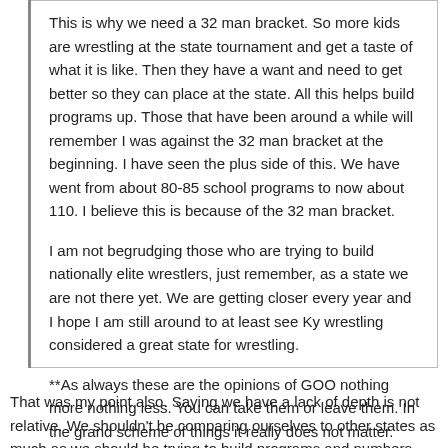This is why we need a 32 man bracket.  So more kids are wrestling at the state tournament and get a taste of what it is like.  Then they have a want and need to get better so they can place at the state.  All this helps build programs up.  Those that have been around a while will remember I was against the 32 man bracket at the beginning.  I have seen the plus side of this. We have went from about 80-85 school programs to now about 110.  I believe this is because of the 32 man bracket.
I am not begrudging those who are trying to build nationally elite wrestlers, just remember, as a state we are not there yet.  We are getting closer every year and I hope I am still around to at least see Ky wrestling considered a great state for wrestling.
**As always these are the opinions of GOO nothing more nothing less. You can take them or leave them. In the grand scheme of things it really does not matter.
GOO out
That was my point also. Saying we have a lack of depth is not relative. We shouldn't be comparing ourselves to other states as much as we should be trying to build programs and numbers.